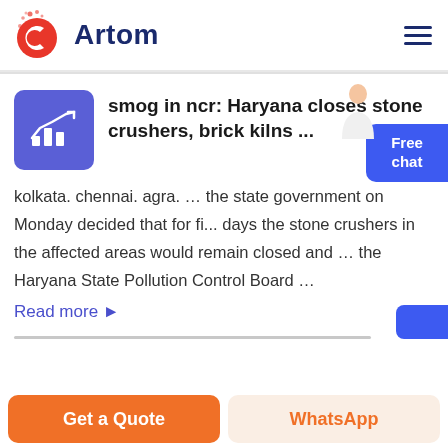Artom
smog in ncr: Haryana closes stone crushers, brick kilns ...
kolkata. chennai. agra. ... the state government on Monday decided that for fi... days the stone crushers in the affected areas would remain closed and ... the Haryana State Pollution Control Board ...
Read more ▶
Get a Quote | WhatsApp